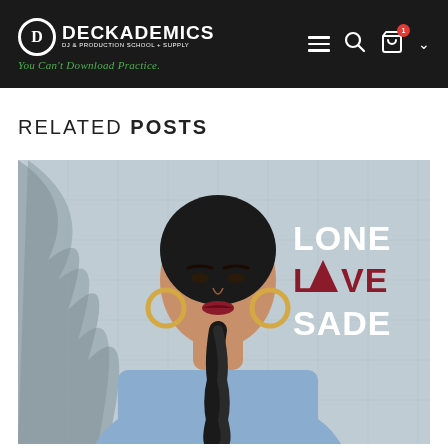Deckademics DJ & Production School + Supply — You Can't Download Practice.
RELATED POSTS
[Figure (photo): Album cover artwork showing a young Black woman with a long braid, wearing a light blue denim shirt, gold hoop earrings, and dark lipstick, posed against a gray textured background. Text on the right reads 'LONE LOVE SADE' with a triangle symbol replacing the letter A in LOVE.]